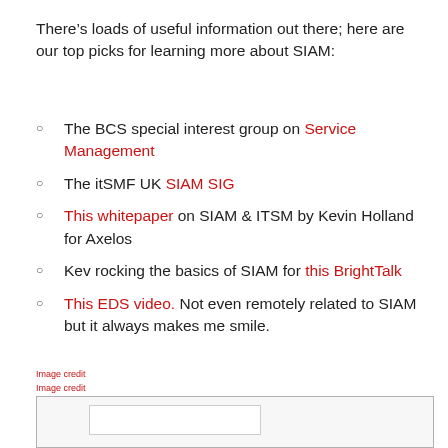There’s loads of useful information out there; here are our top picks for learning more about SIAM:
The BCS special interest group on Service Management
The itSMF UK SIAM SIG
This whitepaper on SIAM & ITSM by Kevin Holland for Axelos
Kev rocking the basics of SIAM for this BrightTalk
This EDS video. Not even remotely related to SIAM but it always makes me smile.
Image credit
Image credit
Image credit
[Figure (other): Bottom bordered box with inner white rectangle, partially visible]